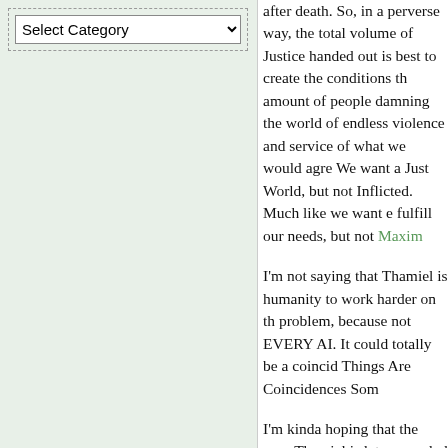[Figure (screenshot): A dropdown selector widget labeled 'Select Category' with a down arrow, on a light green background panel]
after death. So, in a perverse way, the total volume of Justice handed out is best to create the conditions that the amount of people damning themselves world of endless violence and service of what we would agree We want a Just World, but not Inflicted. Much like we want fulfill our needs, but not Maxim
I'm not saying that Thamiel is humanity to work harder on the problem, because not EVERY AI. It could totally be a coincide Things Are Coincidences Som
I'm kinda hoping that the seco Thamiel is later revealed to be that was supposed to keep this Justice in check, which was fla now vainly tries to protest with